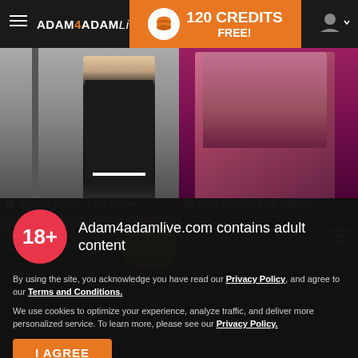ADAM4ADAMLive — 120 CREDITS FREE!
[Figure (screenshot): Two thumbnail images side by side: left shows Vicente Ferrer offline, right shows Elliot Garcia offline]
Vicente Ferrer - I am offline
Elliot Garcia - I am offline
[Figure (photo): Partial third image strip showing a person with graffiti in the background]
Adam4adamlive.com contains adult content
By using the site, you acknowledge you have read our Privacy Policy, and agree to our Terms and Conditions.
We use cookies to optimize your experience, analyze traffic, and deliver more personalized service. To learn more, please see our Privacy Policy.
I AGREE